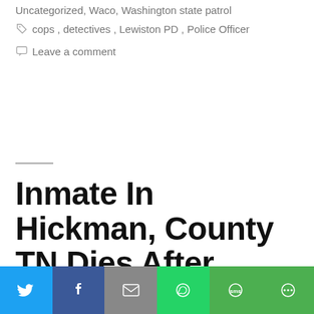Uncategorized, Waco, Washington state patrol
cops, detectives, Lewiston PD, Police Officer
Leave a comment
Inmate In Hickman, County TN Dies After Being Slipped Meth By His “Squeeze”
[Figure (other): Social share bar with buttons: Twitter, Facebook, Email, WhatsApp, SMS, More]